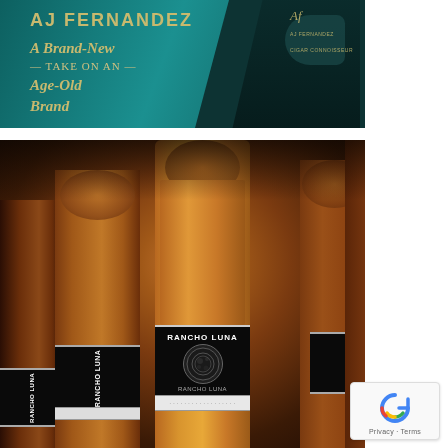[Figure (photo): AJ Fernandez promotional banner with teal/dark background showing a person in dark chef-style clothing. Text reads 'AJ FERNANDEZ' and 'A Brand-New — TAKE ON AN — Age-Old Brand' in gold lettering.]
[Figure (photo): Close-up photo of multiple Rancho Luna cigars arranged in a box, showing dark bands with 'RANCHO LUNA' text and a moon logo on black and white band.]
Privacy · Terms